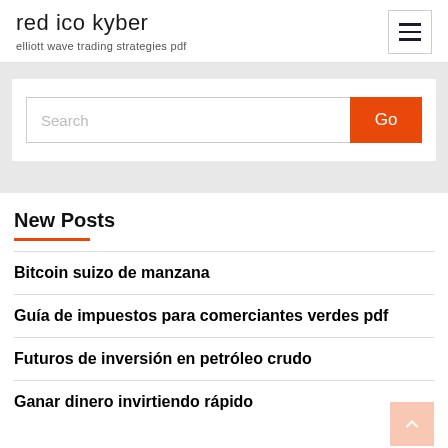red ico kyber
elliott wave trading strategies pdf
[Figure (screenshot): Search bar with text input field and orange 'Go' button]
New Posts
Bitcoin suizo de manzana
Guía de impuestos para comerciantes verdes pdf
Futuros de inversión en petróleo crudo
Ganar dinero invirtiendo rápido